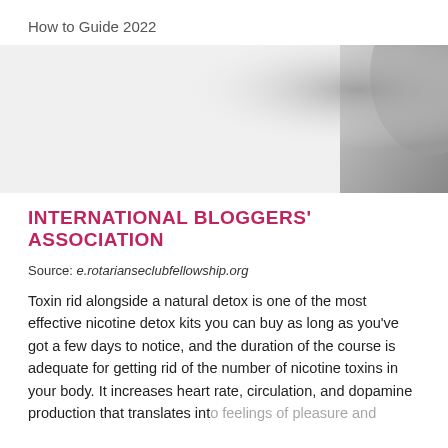How to Guide 2022
[Figure (photo): A light grey/white background image with a dark grey curved shape visible in the upper right corner, appearing to be a partial product or object photograph.]
INTERNATIONAL BLOGGERS' ASSOCIATION
Source: e.rotarianseclubfellowship.org
Toxin rid alongside a natural detox is one of the most effective nicotine detox kits you can buy as long as you've got a few days to notice, and the duration of the course is adequate for getting rid of the number of nicotine toxins in your body. It increases heart rate, circulation, and dopamine production that translates into feelings of pleasure and